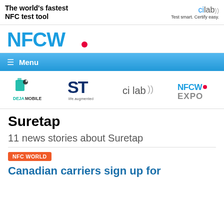The world's fastest NFC test tool — cilab Test smart. Certify easy.
[Figure (logo): NFCW logo in blue with red dot]
≡ Menu
[Figure (logo): Sponsor logos: DEJAMOBILE, ST life.augmented, cilab, NFCW EXPO]
Suretap
11 news stories about Suretap
NFC WORLD
Canadian carriers sign up for